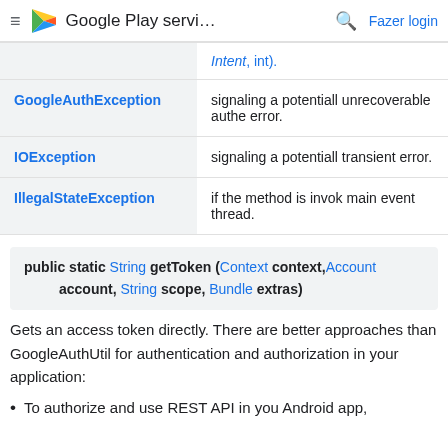Google Play servi... Fazer login
| Exception | Description |
| --- | --- |
| ... | Intent, int). |
| GoogleAuthException | signaling a potentially unrecoverable authentication error. |
| IOException | signaling a potentially transient error. |
| IllegalStateException | if the method is invoked on the main event thread. |
Gets an access token directly. There are better approaches than GoogleAuthUtil for authentication and authorization in your application:
To authorize and use REST API in you Android app,